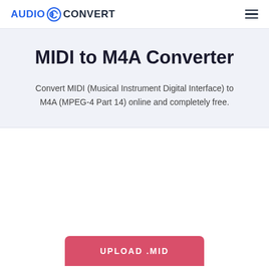AUDIO CONVERT
MIDI to M4A Converter
Convert MIDI (Musical Instrument Digital Interface) to M4A (MPEG-4 Part 14) online and completely free.
[Figure (other): Upload button UI area with white background and a pink/red 'UPLOAD .MID' button at the bottom]